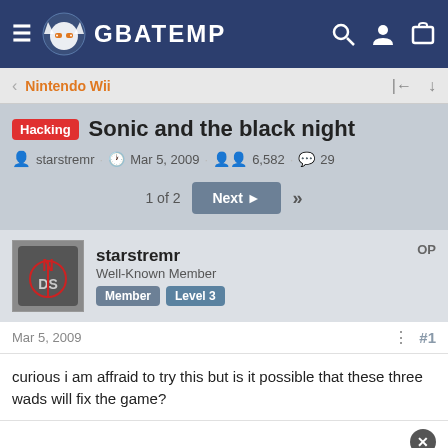GBATEMP
Nintendo Wii
Hacking Sonic and the black night
starstremr · Mar 5, 2009 · 6,582 · 29
1 of 2  Next  »»
starstremr
Well-Known Member
Member  Level 3
OP
Mar 5, 2009  #1
curious i am affraid to try this but is it possible that these three wads will fix the game?